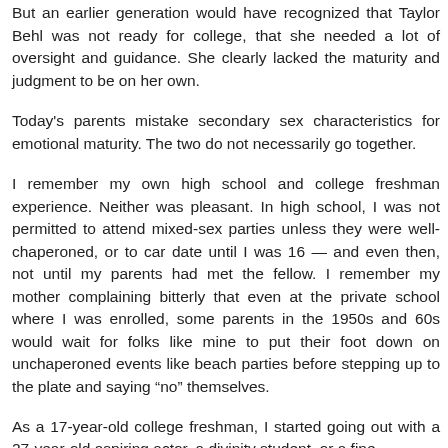stridently and often to her age-group.
But an earlier generation would have recognized that Taylor Behl was not ready for college, that she needed a lot of oversight and guidance. She clearly lacked the maturity and judgment to be on her own.
Today's parents mistake secondary sex characteristics for emotional maturity. The two do not necessarily go together.
I remember my own high school and college freshman experience. Neither was pleasant. In high school, I was not permitted to attend mixed-sex parties unless they were well-chaperoned, or to car date until I was 16 — and even then, not until my parents had met the fellow. I remember my mother complaining bitterly that even at the private school where I was enrolled, some parents in the 1950s and 60s would wait for folks like mine to put their foot down on unchaperoned events like beach parties before stepping up to the plate and saying “no” themselves.
As a 17-year-old college freshman, I started going out with a 27-year-old aspiring actor, a divinity student, or a fine